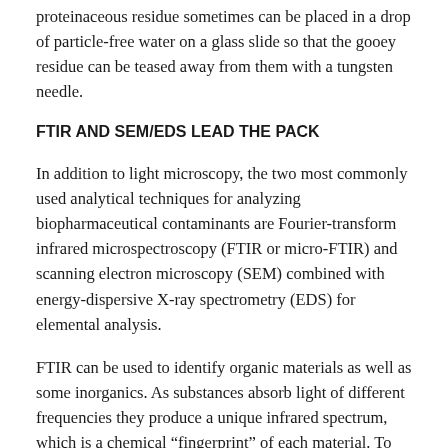proteinaceous residue sometimes can be placed in a drop of particle-free water on a glass slide so that the gooey residue can be teased away from them with a tungsten needle.
FTIR AND SEM/EDS LEAD THE PACK
In addition to light microscopy, the two most commonly used analytical techniques for analyzing biopharmaceutical contaminants are Fourier-transform infrared microspectroscopy (FTIR or micro-FTIR) and scanning electron microscopy (SEM) combined with energy-dispersive X-ray spectrometry (EDS) for elemental analysis.
FTIR can be used to identify organic materials as well as some inorganics. As substances absorb light of different frequencies they produce a unique infrared spectrum, which is a chemical “fingerprint” of each material. To prepare a sample for micro-FTIR analysis, a portion of material as small as 10 μm is isolated by hand, then pressed into a thin film and mounted